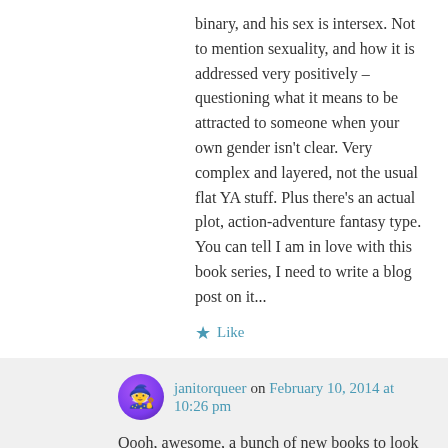binary, and his sex is intersex. Not to mention sexuality, and how it is addressed very positively – questioning what it means to be attracted to someone when your own gender isn't clear. Very complex and layered, not the usual flat YA stuff. Plus there's an actual plot, action-adventure fantasy type. You can tell I am in love with this book series, I need to write a blog post on it...
★ Like
↳ Reply
janitorqueer on February 10, 2014 at 10:26 pm
Oooh, awesome, a bunch of new books to look for at the library!!! Thanks for the